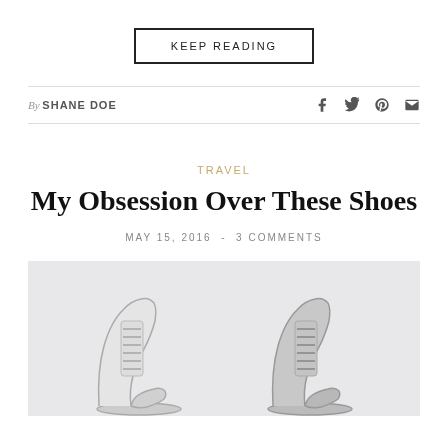KEEP READING
By SHANE DOE
TRAVEL
My Obsession Over These Shoes
MAY 15, 2016  -  3 COMMENTS
[Figure (photo): Two Converse sneakers photographed from above on a light grey background]